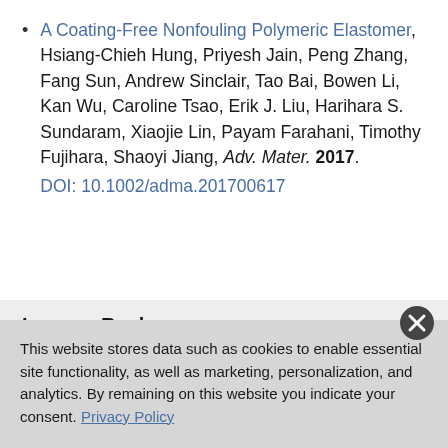A Coating-Free Nonfouling Polymeric Elastomer, Hsiang-Chieh Hung, Priyesh Jain, Peng Zhang, Fang Sun, Andrew Sinclair, Tao Bai, Bowen Li, Kan Wu, Caroline Tsao, Erik J. Liu, Harihara S. Sundaram, Xiaojie Lin, Payam Farahani, Timothy Fujihara, Shaoyi Jiang, Adv. Mater. 2017. DOI: 10.1002/adma.201700617
Leave a Reply
Your email address will not be published. Required fields are
This website stores data such as cookies to enable essential site functionality, as well as marketing, personalization, and analytics. By remaining on this website you indicate your consent. Privacy Policy